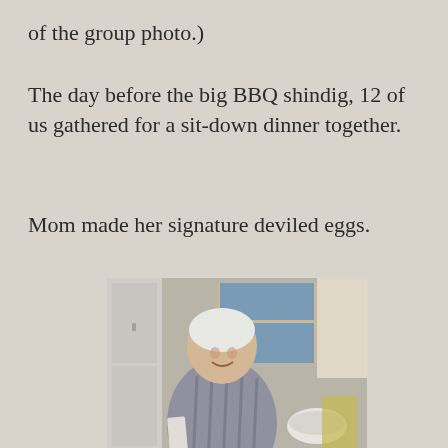of the group photo.)
The day before the big BBQ shindig, 12 of us gathered for a sit-down dinner together.
Mom made her signature deviled eggs.
[Figure (photo): An elderly woman standing in a kitchen, smiling, with a tray of deviled eggs in front of her on a checkered tablecloth. A mixing bowl and various items are on the counter behind her. A window with curtains is visible in the background.]